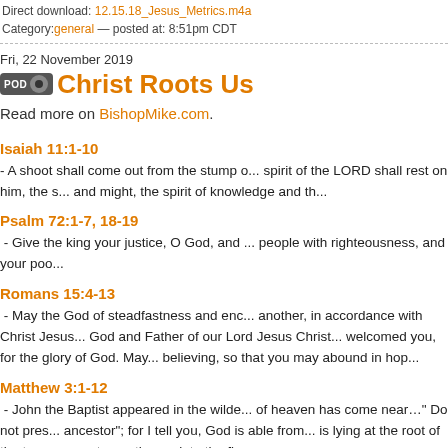Direct download: 12.15.18_Jesus_Metrics.m4a
Category: general — posted at: 8:51pm CDT
Fri, 22 November 2019
Christ Roots Us
Read more on BishopMike.com.
Isaiah 11:1-10
- A shoot shall come out from the stump o... spirit of the LORD shall rest on him, the s... and might, the spirit of knowledge and th...
Psalm 72:1-7, 18-19
- Give the king your justice, O God, and ... people with righteousness, and your poo...
Romans 15:4-13
- May the God of steadfastness and enc... another, in accordance with Christ Jesus... God and Father of our Lord Jesus Christ... welcomed you, for the glory of God. May... believing, so that you may abound in hop...
Matthew 3:1-12
- John the Baptist appeared in the wilde... of heaven has come near…" Do not pres... ancestor"; for I tell you, God is able from... is lying at the root of the trees; every tree... thrown into the fire.